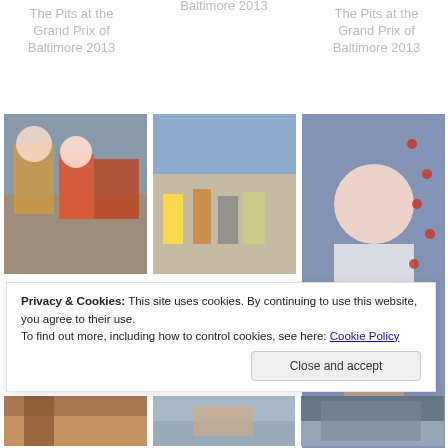The Pits at the Grand Prix of Baltimore 2013
The Pits at the Grand Prix of Baltimore 2013
[Figure (photo): Race pit crew members at Grand Prix of Baltimore 2013]
[Figure (photo): Grandstand crowd view at Grand Prix of Baltimore 2013]
[Figure (photo): Man in white t-shirt posing at Grand Prix of Baltimore 2013]
The Pits at the Grand Prix of Baltimore 2013
Grandstand at the Grand Prix of Baltimore 2013
Privacy & Cookies: This site uses cookies. By continuing to use this website, you agree to their use.
To find out more, including how to control cookies, see here: Cookie Policy
[Figure (photo): Bottom strip photo 1 at Grand Prix of Baltimore]
[Figure (photo): Bottom strip photo 2 at Grand Prix of Baltimore]
[Figure (photo): Bottom strip photo 3 at Grand Prix of Baltimore]